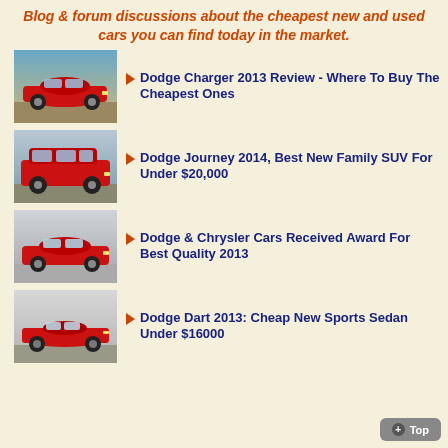Blog & forum discussions about the cheapest new and used cars you can find today in the market.
Dodge Charger 2013 Review - Where To Buy The Cheapest Ones
Dodge Journey 2014, Best New Family SUV For Under $20,000
Dodge & Chrysler Cars Received Award For Best Quality 2013
Dodge Dart 2013: Cheap New Sports Sedan Under $16000